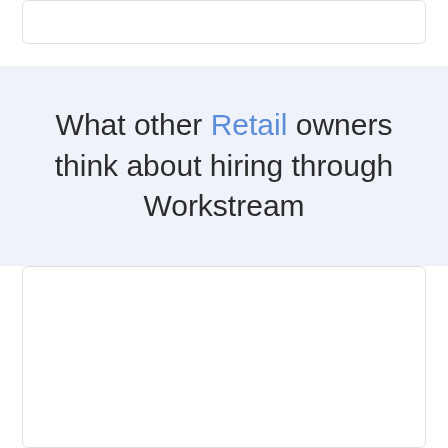[Figure (other): Top white card placeholder]
What other Retail owners think about hiring through Workstream
[Figure (other): Bottom white card placeholder]